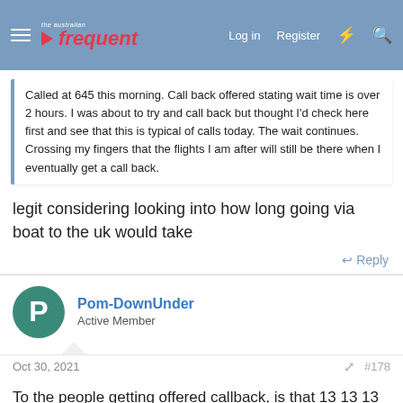the australian frequentflyer | Log in | Register
Called at 645 this morning. Call back offered stating wait time is over 2 hours. I was about to try and call back but thought I'd check here first and see that this is typical of calls today. The wait continues. Crossing my fingers that the flights I am after will still be there when I eventually get a call back.
legit considering looking into how long going via boat to the uk would take
Reply
Pom-DownUnder
Active Member
Oct 30, 2021
#178
To the people getting offered callback, is that 13 13 13 ? i've always used 13 11 31 and never been offered a call back
Reply